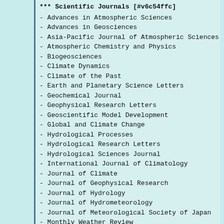*** Scientific Journals [#v6c54ffc]
- Advances in Atmospheric Sciences
- Advances in Geosciences
- Asia-Pacific Journal of Atmospheric Sciences
- Atmospheric Chemistry and Physics
- Biogeosciences
- Climate Dynamics
- Climate of the Past
- Earth and Planetary Science Letters
- Geochemical Journal
- Geophysical Research Letters
- Geoscientific Model Development
- Global and Climate Change
- Hydrological Processes
- Hydrological Research Letters
- Hydrological Sciences Journal
- International Journal of Climatology
- Journal of Climate
- Journal of Geophysical Research
- Journal of Hydrology
- Journal of Hydrometeorology
- Journal of Meteorological Society of Japan
- Monthly Weather Review
- Review of Geophysics
- Scientific Online Letters on the Atmosphere
- Terrestrial, Atmospheric and Oceanic Sciences
- Theoretical and Applied Climatology
- Water Resources Research
- 〓〓〓〓〓〓〓